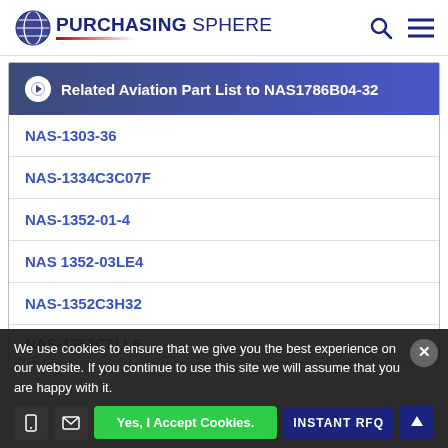Purchasing Sphere
Related Aviation Part List to NAS1786B04-32
NAS-1303-36
NAS-1334C3C07F
NAS-1352-01-4
NAS 1352-03LE4
NAS-1352C3H32
NAS-1352C3LL6
We use cookies to ensure that we give you the best experience on our website. If you continue to use this site we will assume that you are happy with it.